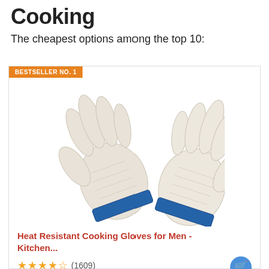Cooking
The cheapest options among the top 10:
[Figure (photo): Product card showing a pair of white knitted heat resistant cooking gloves with blue cuffs, labeled BESTSELLER NO. 1. Below the image is a product title in red: Heat Resistant Cooking Gloves for Men - Kitchen... with star ratings (approximately 4.5 stars) and review count (1609).]